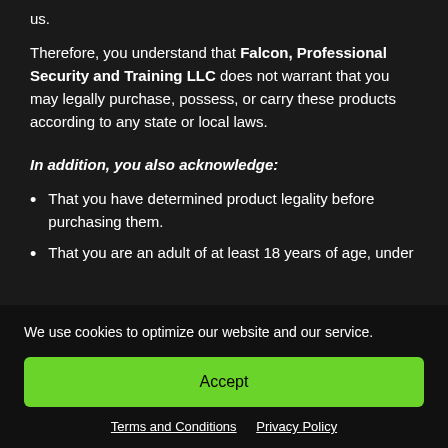us.
Therefore, you understand that Falcon, Professional Security and Training LLC does not warrant that you may legally purchase, possess, or carry these products according to any state or local laws.
In addition, you also acknowledge:
That you have determined product legality before purchasing them.
That you are an adult of at least 18 years of age, under
We use cookies to optimize our website and our service.
Accept
Terms and Conditions   Privacy Policy